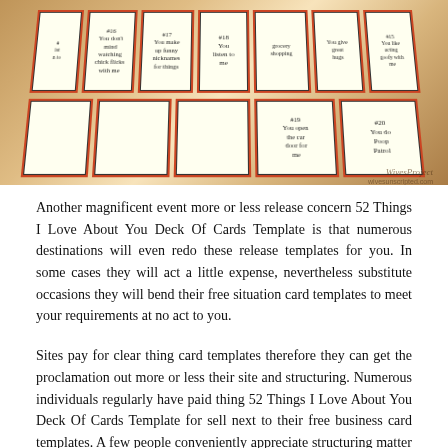[Figure (photo): Photograph of a fan of cards laid out on a wooden surface. The cards have numbered entries such as #16 'You don't mind watching chick flicks with me', #17 'You make up funny nicknames for things', #18 'You listen to me', #19 'You open the car door for me', #20 'You do Poop Patrol', and others partially visible. Cards have orange/red borders. Watermark reads 'WivesProject wivesunscripted.com'.]
Another magnificent event more or less release concern 52 Things I Love About You Deck Of Cards Template is that numerous destinations will even redo these release templates for you. In some cases they will act a little expense, nevertheless substitute occasions they will bend their free situation card templates to meet your requirements at no act to you.
Sites pay for clear thing card templates therefore they can get the proclamation out more or less their site and structuring. Numerous individuals regularly have paid thing 52 Things I Love About You Deck Of Cards Template for sell next to their free business card templates. A few people conveniently appreciate structuring matter cards and have